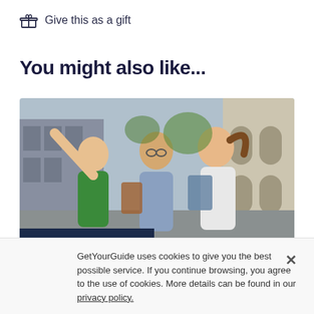Give this as a gift
You might also like...
[Figure (photo): Three young tourists outdoors looking and pointing at something, smiling. Badge in lower left reads 'OTHER EXPERIENCE'.]
Original Scavenger Hunt through Berlin's City Center
5 hours
★★★★★ 4.8 (29)
GetYourGuide uses cookies to give you the best possible service. If you continue browsing, you agree to the use of cookies. More details can be found in our privacy policy.